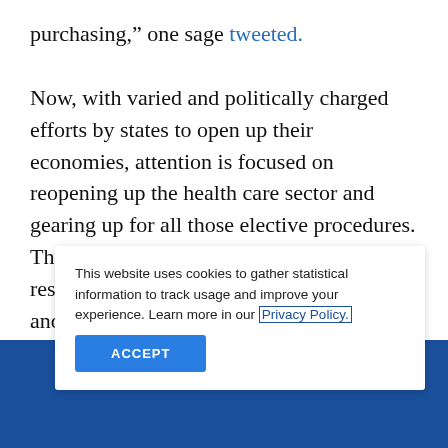purchasing,” one sage tweeted. Now, with varied and politically charged efforts by states to open up their economies, attention is focused on reopening up the health care sector and gearing up for all those elective procedures. The push is strong. Providers are eager to restore revenues. Patients want to see real and perceived needs addressed. Political leaders see public morale and jobs on the line.
This website uses cookies to gather statistical information to track usage and improve your experience. Learn more in our Privacy Policy.